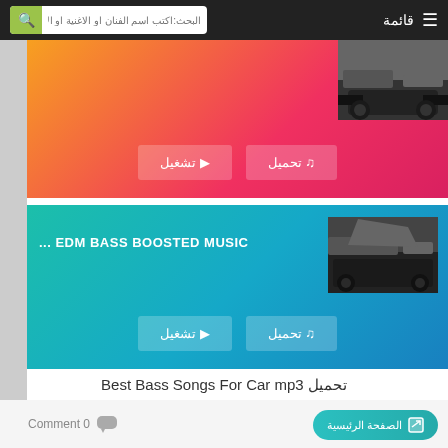قائمة  البحث:اكتب اسم الفنان او الاغنية او الألبوم
[Figure (screenshot): Music card 1 with orange-red gradient background, car thumbnail, play and download buttons in Arabic]
[Figure (screenshot): Music card 2 with teal-blue gradient background, EDM BASS BOOSTED MUSIC title, car thumbnail, play and download buttons in Arabic]
تحميل Best Bass Songs For Car mp3
Comment 0
الصفحة الرئيسية